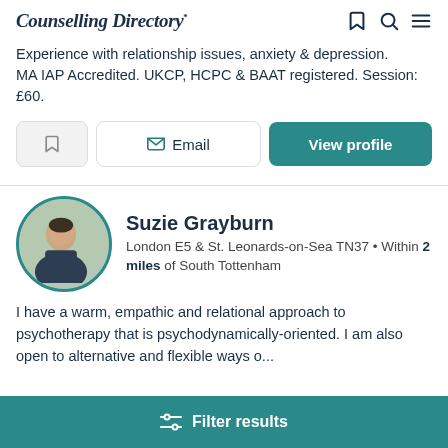Counselling Directory
Experience with relationship issues, anxiety & depression. MA IAP Accredited. UKCP, HCPC & BAAT registered. Session: £60.
Email | View profile
Suzie Grayburn
London E5 & St. Leonards-on-Sea TN37 • Within 2 miles of South Tottenham
I have a warm, empathic and relational approach to psychotherapy that is psychodynamically-oriented. I am also open to alternative and flexible ways o...
Filter results